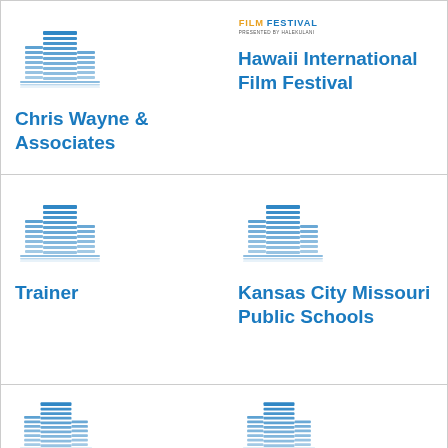[Figure (logo): Building icon for Chris Wayne & Associates]
Chris Wayne & Associates
[Figure (logo): Hawaii International Film Festival logo with text FILM FESTIVAL PRESENTED BY HALEKULANI]
Hawaii International Film Festival
[Figure (logo): Building icon for Trainer]
Trainer
[Figure (logo): Building icon for Kansas City Missouri Public Schools]
Kansas City Missouri Public Schools
[Figure (logo): Building icon (partial, bottom row left)]
[Figure (logo): Building icon (partial, bottom row right)]